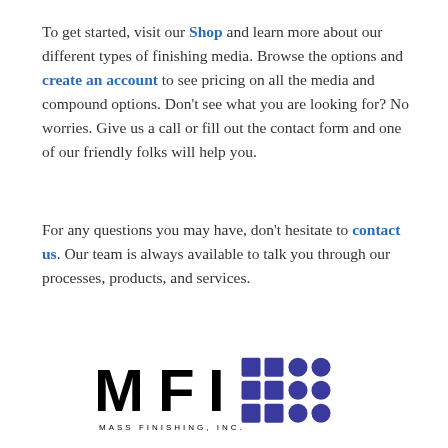To get started, visit our Shop and learn more about our different types of finishing media. Browse the options and create an account to see pricing on all the media and compound options. Don't see what you are looking for? No worries. Give us a call or fill out the contact form and one of our friendly folks will help you.
For any questions you may have, don't hesitate to contact us. Our team is always available to talk you through our processes, products, and services.
[Figure (logo): MFI Mass Finishing, Inc. logo — large bold black letters MFI with a grid of blue squares and circles to the right, and 'MASS FINISHING, INC.' in spaced capitals below.]